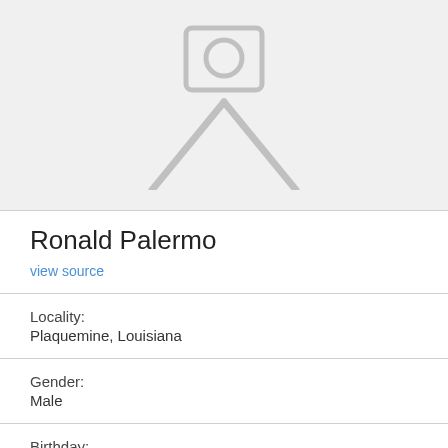[Figure (illustration): Placeholder profile photo icon showing a camera/person silhouette on a light gray background]
Ronald Palermo
view source
Locality:
Plaquemine, Louisiana
Gender:
Male
Birthday:
1938